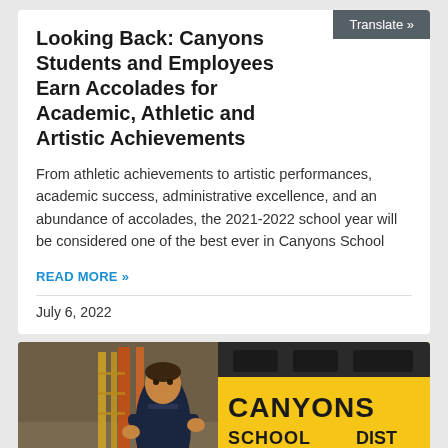Looking Back: Canyons Students and Employees Earn Accolades for Academic, Athletic and Artistic Achievements
From athletic achievements to artistic performances, academic success, administrative excellence, and an abundance of accolades, the 2021-2022 school year will be considered one of the best ever in Canyons School
READ MORE »
July 6, 2022
[Figure (photo): A school district employee in a navy polo shirt standing in front of a yellow Canyons School District bus, holding a blue banner that reads JOIN #TEAMCSD]